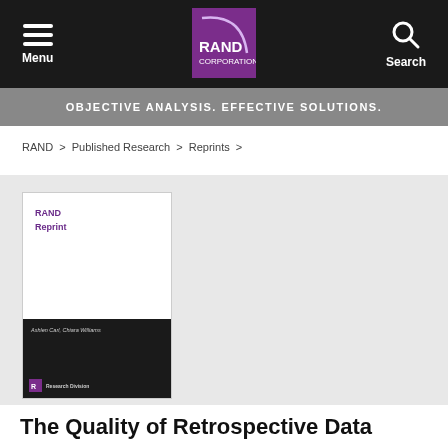Menu | RAND Corporation | Search
OBJECTIVE ANALYSIS. EFFECTIVE SOLUTIONS.
RAND > Published Research > Reprints >
[Figure (illustration): RAND Reprint book cover with white top section showing RAND Reprint label in purple, and black bottom section with author names Ashlen Carl, Chiara Williams and Research Division footer logo]
The Quality of Retrospective Data